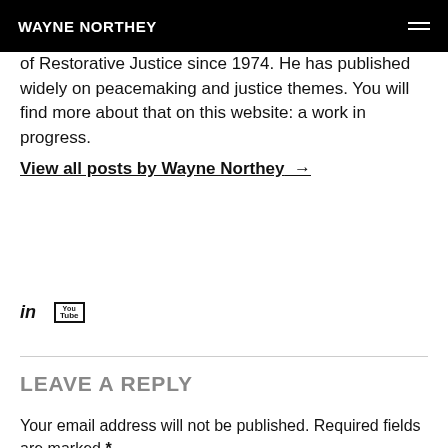WAYNE NORTHEY
of Restorative Justice since 1974. He has published widely on peacemaking and justice themes. You will find more about that on this website: a work in progress.
View all posts by Wayne Northey →
[Figure (other): LinkedIn and YouTube social media icons]
LEAVE A REPLY
Your email address will not be published. Required fields are marked *